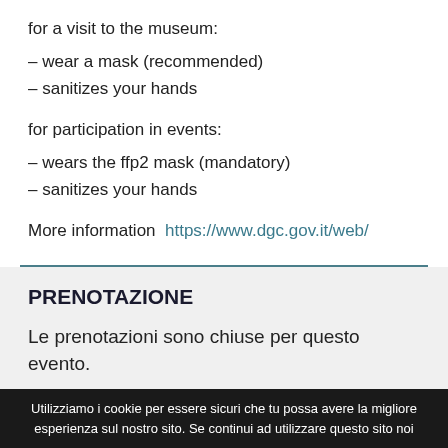for a visit to the museum:
– wear a mask (recommended)
– sanitizes your hands
for participation in events:
– wears the ffp2 mask (mandatory)
– sanitizes your hands
More information  https://www.dgc.gov.it/web/
PRENOTAZIONE
Le prenotazioni sono chiuse per questo evento.
Utilizziamo i cookie per essere sicuri che tu possa avere la migliore esperienza sul nostro sito. Se continui ad utilizzare questo sito noi